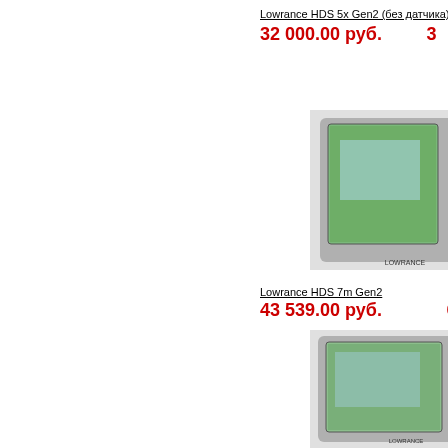Lowrance HDS 5x Gen2 (без датчика)
32 000.00 руб.
Lowranc... 3...
[Figure (photo): Lowrance HDS 7m Gen2 GPS chartplotter device photo]
Lowrance HDS 7m Gen2
43 539.00 руб.
L... 6...
[Figure (photo): Lowrance HDS 10m Gen2 GPS chartplotter device photo]
Lowrance HDS 10m Gen2
108 770.00 руб.
12...
[Figure (photo): Lowrance HDS device bottom photo]